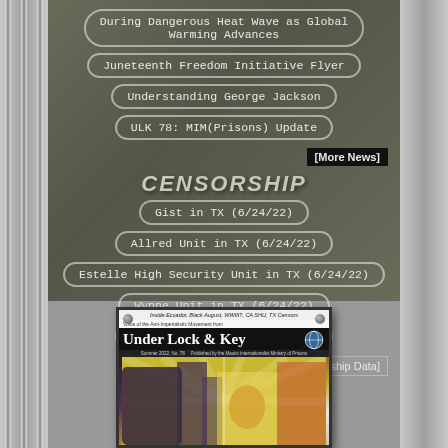During Dangerous Heat Wave as Global Warming Advances
Juneteenth Freedom Initiative Flyer
Understanding George Jackson
ULK 78: MIM(Prisons) Update
[More News]
CENSORSHIP
Gist in TX (6/24/22)
Allred Unit in TX (6/24/22)
Estelle High Security Unit in TX (6/24/22)
Wynne Unit in TX (6/24/22)
Allred Unit in TX (6/24/22)
[Censorship Data]
[Figure (photo): Cover of Under Lock & Key magazine issue 78, showing artwork with prisoners and political imagery]